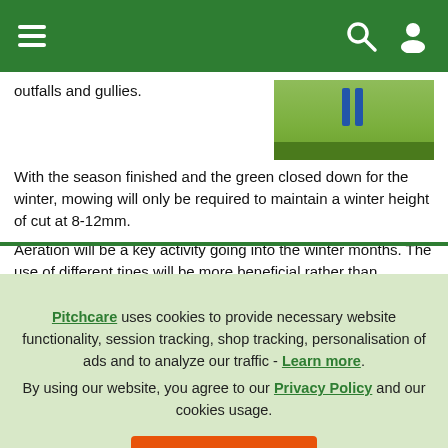Pitchcare website navigation bar with hamburger menu, search icon, and user icon
outfalls and gullies.
[Figure (photo): Photograph of a person standing on a bowling green or grass surface, showing legs in blue trousers, with a dark edging strip visible]
With the season finished and the green closed down for the winter, mowing will only be required to maintain a winter height of cut at 8-12mm.
Aeration will be a key activity going into the winter months. The use of different tines will be more beneficial rather than continuing to
Pitchcare uses cookies to provide necessary website functionality, session tracking, shop tracking, personalisation of ads and to analyze our traffic - Learn more. By using our website, you agree to our Privacy Policy and our cookies usage.